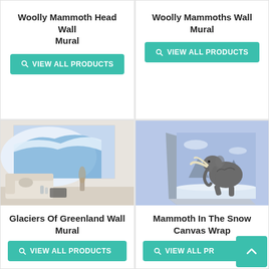Woolly Mammoth Head Wall Mural
VIEW ALL PRODUCTS
Woolly Mammoths Wall Mural
VIEW ALL PRODUCTS
[Figure (photo): A framed wall mural of Glaciers in a Greenland landscape with blue and white snow mountains, displayed on a white living room wall above a sofa]
Glaciers Of Greenland Wall Mural
VIEW ALL PRODUCTS
[Figure (photo): A canvas wrap showing a woolly mammoth standing in snow with mountains in the background under a blue sky]
Mammoth In The Snow Canvas Wrap
VIEW ALL PRODUCTS